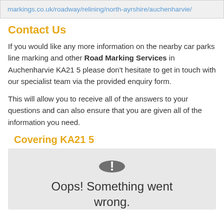markings.co.uk/roadway/relining/north-ayrshire/auchenharvie/
Contact Us
If you would like any more information on the nearby car parks line marking and other Road Marking Services in Auchenharvie KA21 5 please don't hesitate to get in touch with our specialist team via the provided enquiry form.
This will allow you to receive all of the answers to your questions and can also ensure that you are given all of the information you need.
Covering KA21 5
[Figure (screenshot): Map error placeholder showing a grey box with a dark circle containing an exclamation mark and the text 'Oops! Something went wrong.']